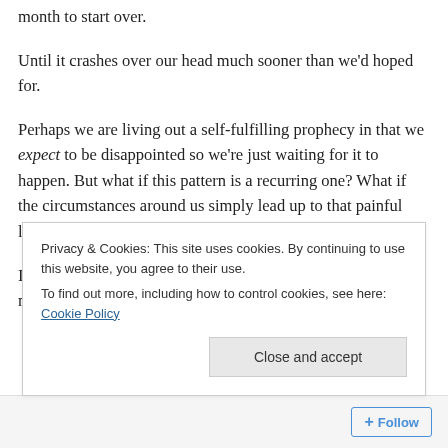month to start over.
Until it crashes over our head much sooner than we'd hoped for.
Perhaps we are living out a self-fulfilling prophecy in that we expect to be disappointed so we're just waiting for it to happen. But what if this pattern is a recurring one? What if the circumstances around us simply lead up to that painful loss of optimism? Or maybe it's just that we hope for a lot.
In the past few months (or even years) we've been through so much — so many ridiculous, unperceivable
Privacy & Cookies: This site uses cookies. By continuing to use this website, you agree to their use.
To find out more, including how to control cookies, see here: Cookie Policy